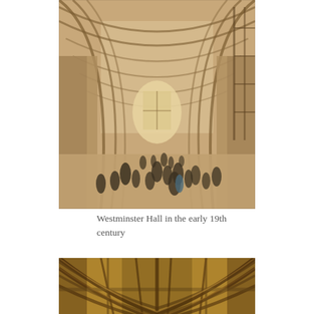[Figure (photo): Historical engraving/illustration of the interior of Westminster Hall in the early 19th century, showing the grand hammer-beam roof arches, tall windows at the far end, and small figures of people gathered on the floor of the hall.]
Westminster Hall in the early 19th century
[Figure (photo): Close-up photograph of the wooden hammer-beam roof structure of Westminster Hall, showing warm golden-brown timber beams, arched braces, and intricate wooden framework from below.]